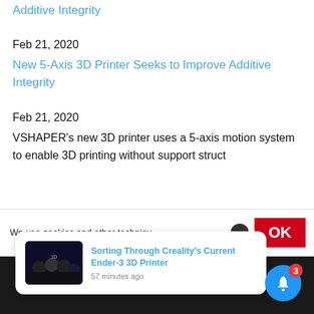Additive Integrity
Feb 21, 2020
New 5-Axis 3D Printer Seeks to Improve Additive Integrity
Feb 21, 2020
VSHAPER's new 3D printer uses a 5-axis motion system to enable 3D printing without support struct
We use cookies and other techniqu
[Figure (screenshot): Cookie consent bar with X button and OK button]
[Figure (screenshot): Notification popup showing article: Sorting Through Creality's Current Ender-3 3D Printer, 57 minutes ago, with thumbnail image]
[Figure (other): Blue bell notification button with badge showing 3]